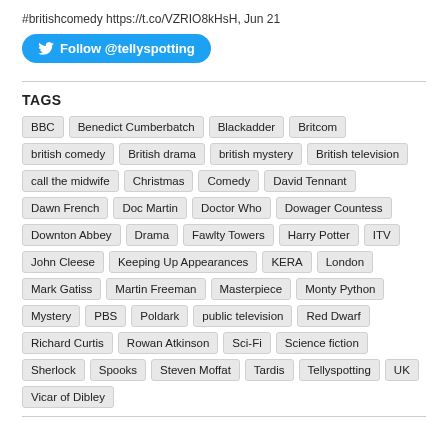#britishcomedy https://t.co/VZRIO8kHsH, Jun 21
[Figure (other): Twitter Follow @tellyspotting button]
TAGS
BBC, Benedict Cumberbatch, Blackadder, Britcom, british comedy, British drama, british mystery, British television, call the midwife, Christmas, Comedy, David Tennant, Dawn French, Doc Martin, Doctor Who, Dowager Countess, Downton Abbey, Drama, Fawlty Towers, Harry Potter, ITV, John Cleese, Keeping Up Appearances, KERA, London, Mark Gatiss, Martin Freeman, Masterpiece, Monty Python, Mystery, PBS, Poldark, public television, Red Dwarf, Richard Curtis, Rowan Atkinson, Sci-Fi, Science fiction, Sherlock, Spooks, Steven Moffat, Tardis, Tellyspotting, UK, Vicar of Dibley